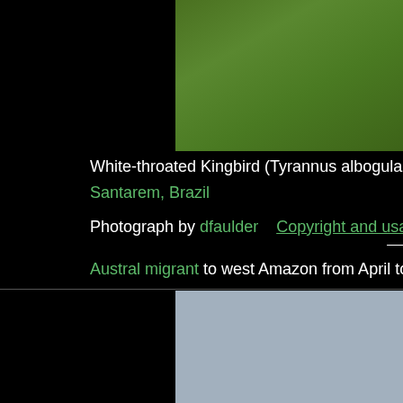[Figure (photo): Partial view of a bird photo showing green foliage background, top right of page]
White-throated Kingbird (Tyrannus albogularis)
Santarem, Brazil
Photograph by dfaulder    Copyright and usage info
Austral migrant to west Amazon from April to October. Note w
[Figure (photo): Partial view of a second bird photo showing blue-grey background, bottom right of page]